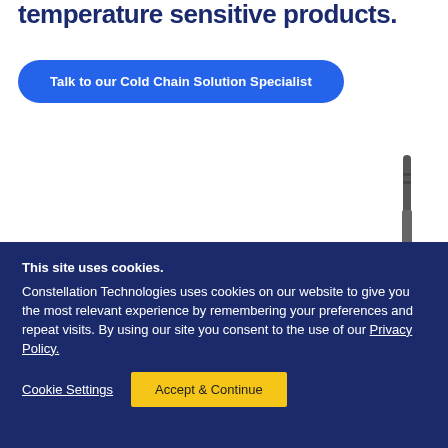temperature sensitive products.
Talk to our Cold Chain Solution Specialist
[Figure (photo): Partial view of a device antenna or stylus in dark gray color against white background]
This site uses cookies.
Constellation Technologies uses cookies on our website to give you the most relevant experience by remembering your preferences and repeat visits. By using our site you consent to the use of our Privacy Policy.
Cookie Settings
Accept & Continue